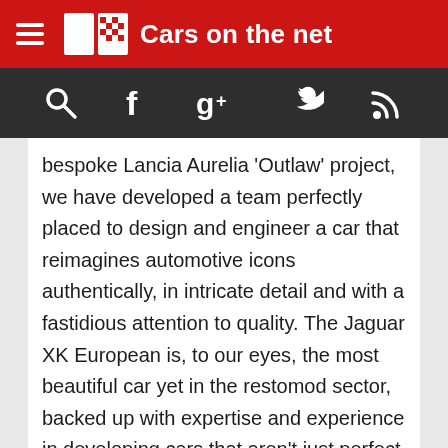Cars on the net
bespoke Lancia Aurelia ‘Outlaw’ project, we have developed a team perfectly placed to design and engineer a car that reimagines automotive icons authentically, in intricate detail and with a fastidious attention to quality. The Jaguar XK European is, to our eyes, the most beautiful car yet in the restomod sector, backed up with expertise and experience in developing cars that aren’t just perfect in their finish, but thrilling to own and drive.
“The 1950s marked the start of a golden